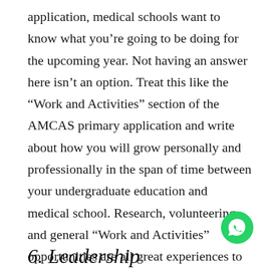application, medical schools want to know what you’re going to be doing for the upcoming year. Not having an answer here isn’t an option. Treat this like the “Work and Activities” section of the AMCAS primary application and write about how you will grow personally and professionally in the span of time between your undergraduate education and medical school. Research, volunteering, and general “Work and Activities” opportunities are all great experiences to refer to. Be sure to address possible gaps in your application.
[Figure (illustration): WhatsApp green circular button icon with phone handset symbol]
6. Leadership